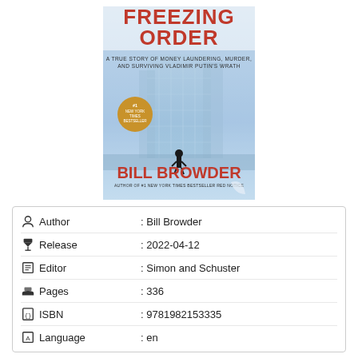[Figure (illustration): Book cover of 'Freezing Order' by Bill Browder. Red bold title text 'FREEZING ORDER' at top, subtitle 'A TRUE STORY OF MONEY LAUNDERING, MURDER, AND SURVIVING VLADIMIR PUTIN'S WRATH', icy blue background with silhouette figure and building, gold '#1 New York Times Bestseller' badge, author name 'BILL BROWDER' in red at bottom, 'AUTHOR OF #1 NEW YORK TIMES BESTSELLER RED NOTICE' below.]
| Author | : Bill Browder |
| Release | : 2022-04-12 |
| Editor | : Simon and Schuster |
| Pages | : 336 |
| ISBN | : 9781982153335 |
| Language | : en |